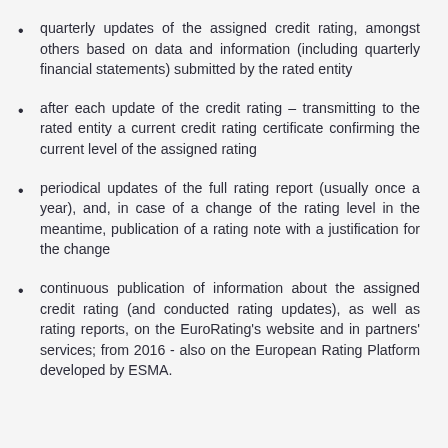quarterly updates of the assigned credit rating, amongst others based on data and information (including quarterly financial statements) submitted by the rated entity
after each update of the credit rating – transmitting to the rated entity a current credit rating certificate confirming the current level of the assigned rating
periodical updates of the full rating report (usually once a year), and, in case of a change of the rating level in the meantime, publication of a rating note with a justification for the change
continuous publication of information about the assigned credit rating (and conducted rating updates), as well as rating reports, on the EuroRating's website and in partners' services; from 2016 - also on the European Rating Platform developed by ESMA.